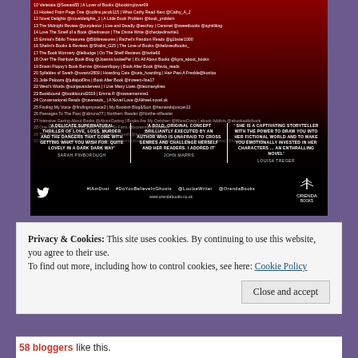[Figure (photo): Book promotional image showing a dark red/black background with silhouettes, a numbered list of book bloggers at the top, three reviewer quotes in the middle, and a social media bar at the bottom with hashtags #IAmDust #DoYouBelieveInGhosts @LouiseWriter @OrendaBooks and www.orendabooks.co.uk]
Privacy & Cookies: This site uses cookies. By continuing to use this website, you agree to their use.
To find out more, including how to control cookies, see here: Cookie Policy
Close and accept
58 bloggers like this.